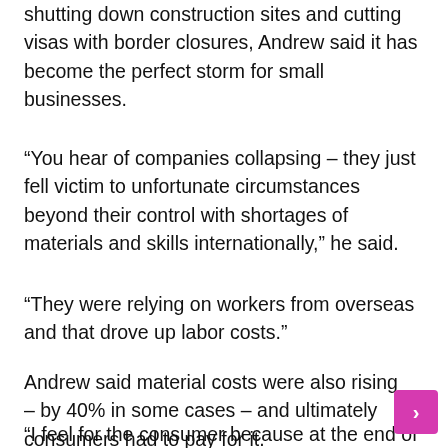shutting down construction sites and cutting visas with border closures, Andrew said it has become the perfect storm for small businesses.
“You hear of companies collapsing – they just fell victim to unfortunate circumstances beyond their control with shortages of materials and skills internationally,” he said.
“They were relying on workers from overseas and that drove up labor costs.”
Andrew said material costs were also rising – by 40% in some cases – and ultimately consumers had to pay for it.
“I feel for the consumer because at the end of